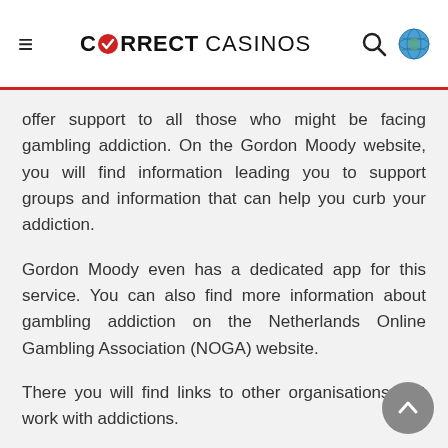CORRECT CASINOS
offer support to all those who might be facing gambling addiction. On the Gordon Moody website, you will find information leading you to support groups and information that can help you curb your addiction.
Gordon Moody even has a dedicated app for this service. You can also find more information about gambling addiction on the Netherlands Online Gambling Association (NOGA) website.
There you will find links to other organisations that work with addictions.
Some of these that are available are:
Stitching Hands